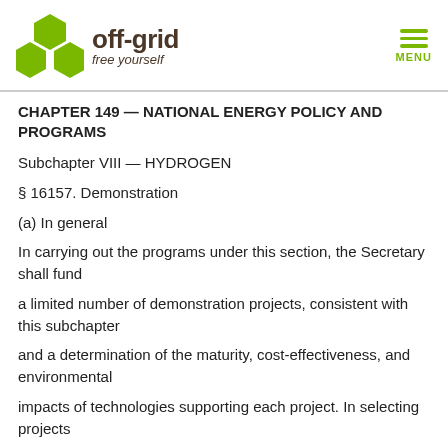off-grid free yourself | MENU
CHAPTER 149 — NATIONAL ENERGY POLICY AND PROGRAMS
Subchapter VIII — HYDROGEN
§ 16157. Demonstration
(a) In general
In carrying out the programs under this section, the Secretary shall fund
a limited number of demonstration projects, consistent with this subchapter
and a determination of the maturity, cost-effectiveness, and environmental
impacts of technologies supporting each project. In selecting projects
under this subsection, the Secretary shall, to the extent